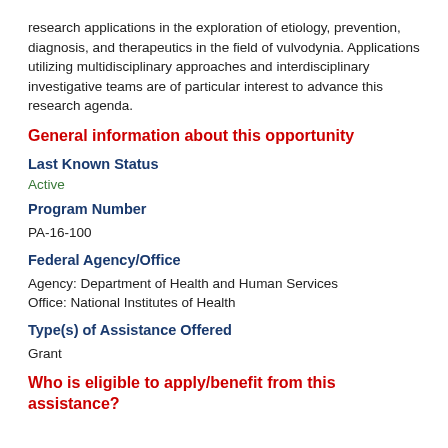research applications in the exploration of etiology, prevention, diagnosis, and therapeutics in the field of vulvodynia. Applications utilizing multidisciplinary approaches and interdisciplinary investigative teams are of particular interest to advance this research agenda.
General information about this opportunity
Last Known Status
Active
Program Number
PA-16-100
Federal Agency/Office
Agency: Department of Health and Human Services
Office: National Institutes of Health
Type(s) of Assistance Offered
Grant
Who is eligible to apply/benefit from this assistance?